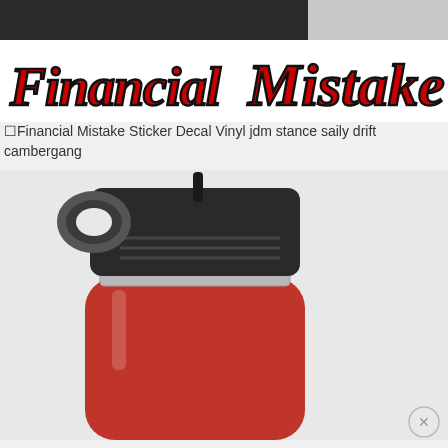[Figure (logo): Financial Mistake logo in red and white script lettering with black outline, stylized cursive text]
Financial Mistake Sticker Decal Vinyl jdm stance saily drift cambergang
[Figure (photo): Red stainless steel water bottle with black lid showing a loop handle and straw opening, close-up view of the top portion]